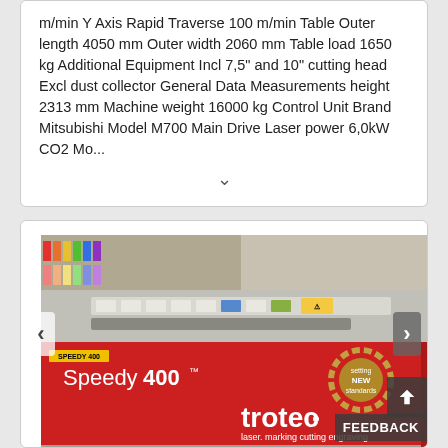m/min Y Axis Rapid Traverse 100 m/min Table Outer length 4050 mm Outer width 2060 mm Table load 1650 kg Additional Equipment Incl 7,5" and 10" cutting head Excl dust collector General Data Measurements height 2313 mm Machine weight 16000 kg Control Unit Brand Mitsubishi Model M700 Main Drive Laser power 6,0kW CO2 Mo...
[Figure (photo): Photo of a Trotec Speedy 400 laser machine (red and white body) with 'trotec laser. marking cutting engraving' branding, shown in an indoor setting with colorful material samples visible in background.]